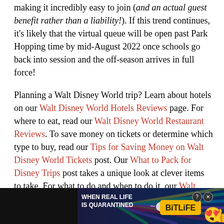making it incredibly easy to join (and an actual guest benefit rather than a liability!). If this trend continues, it's likely that the virtual queue will be open past Park Hopping time by mid-August 2022 once schools go back into session and the off-season arrives in full force!
Planning a Walt Disney World trip? Learn about hotels on our Walt Disney World Hotels Reviews page. For where to eat, read our Walt Disney World Restaurant Reviews. To save money on tickets or determine which type to buy, read our Tips for Saving Money on Walt Disney World Tickets post. Our What to Pack for Disney Trips post takes a unique look at clever items to take. For what to do and when to do it, our Walt Disney World Ride Guides will help. For comprehensive advice, the best place to start is our Walt Disney World Trip Planning Guide for every
[Figure (other): Advertisement banner for BitLife mobile game showing 'WHEN REAL LIFE IS QUARANTINED' text with rainbow background, BitLife logo, emoji characters, and close/info controls]